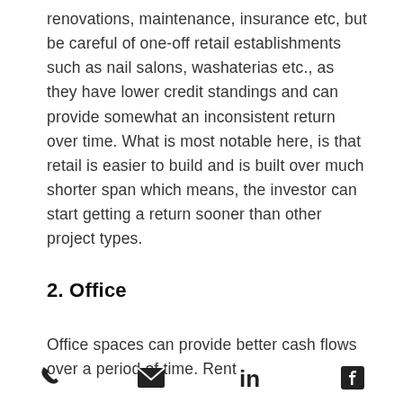renovations, maintenance, insurance etc, but be careful of one-off retail establishments such as nail salons, washaterias etc., as they have lower credit standings and can provide somewhat an inconsistent return over time. What is most notable here, is that retail is easier to build and is built over much shorter span which means, the investor can start getting a return sooner than other project types.
2. Office
Office spaces can provide better cash flows over a period of time. Rent
[phone icon] [email icon] [linkedin icon] [facebook icon]